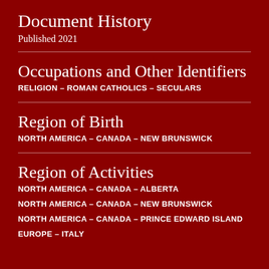Document History
Published 2021
Occupations and Other Identifiers
RELIGION – ROMAN CATHOLICS – SECULARS
Region of Birth
NORTH AMERICA – CANADA – NEW BRUNSWICK
Region of Activities
NORTH AMERICA – CANADA – ALBERTA
NORTH AMERICA – CANADA – NEW BRUNSWICK
NORTH AMERICA – CANADA – PRINCE EDWARD ISLAND
EUROPE – ITALY